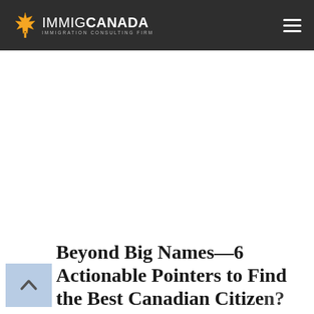IMMIGCANADA — Immigration Consulting Firm
Beyond Big Names—6 Actionable Pointers to Find the Best Canadian Citizen?